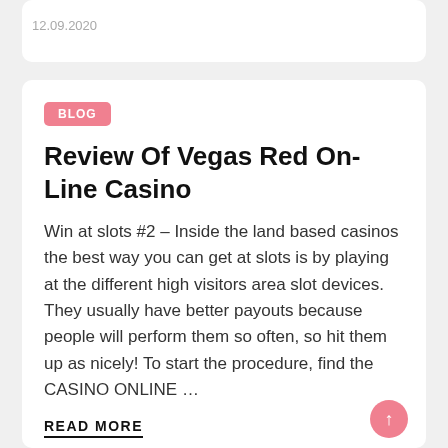12.09.2020
BLOG
Review Of Vegas Red On-Line Casino
Win at slots #2 – Inside the land based casinos the best way you can get at slots is by playing at the different high visitors area slot devices. They usually have better payouts because people will perform them so often, so hit them up as nicely! To start the procedure, find the CASINO ONLINE …
READ MORE